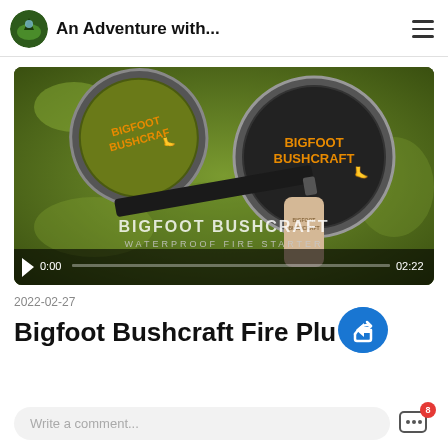An Adventure with...
[Figure (screenshot): Video thumbnail showing Bigfoot Bushcraft waterproof fire starter products (tins and ferro rod) on a mossy surface, with video controls showing 0:00 current time and 02:22 total duration. Overlay text reads 'BIGFOOT BUSHCRAFT WATERPROOF FIRE STARTER'.]
2022-02-27
Bigfoot Bushcraft Fire Plu...
Write a comment...